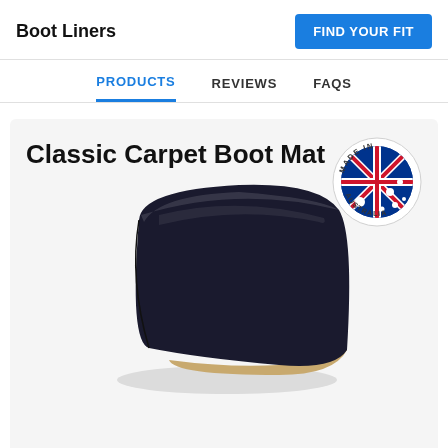Boot Liners
FIND YOUR FIT
PRODUCTS  REVIEWS  FAQS
Classic Carpet Boot Mat
[Figure (photo): Photo of a dark navy/black carpet boot mat with a beige/tan backing, slightly folded to show both sides, along with a circular 'Made in Australia' badge with the Australian flag.]